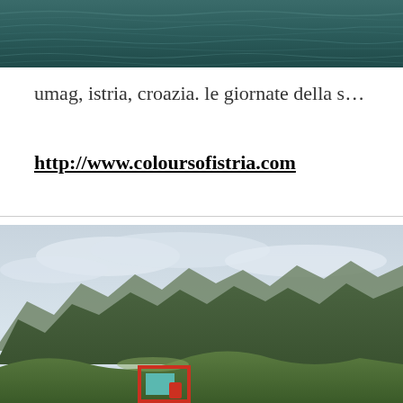[Figure (photo): Aerial or overhead view of dark teal/green water surface with ripples]
umag, istria, croazia. le giornate della s…
http://www.coloursofistria.com
[Figure (photo): Mountain landscape panorama with green hills, mountain peaks under cloudy sky, and a small red-framed structure in the foreground]